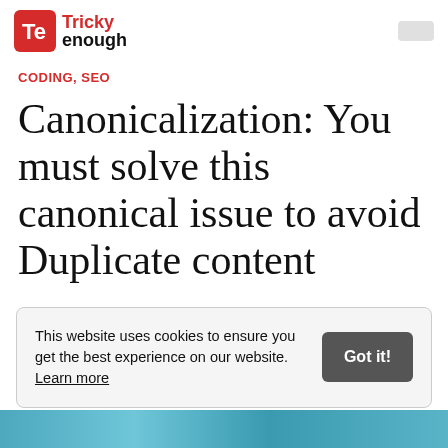Tricky enough
CODING, SEO
Canonicalization: You must solve this canonical issue to avoid Duplicate content
This website uses cookies to ensure you get the best experience on our website. Learn more